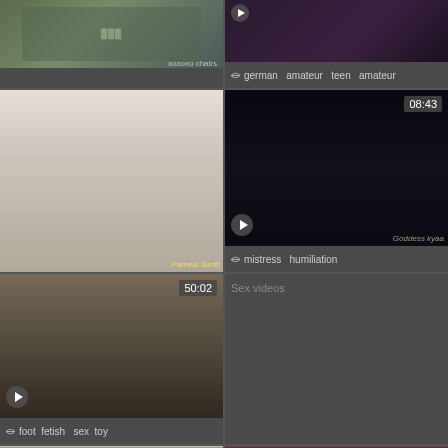[Figure (screenshot): Video thumbnail grid - top left: two women in green tops, top right: dark blurry scene with flag icon and tags 'german amateur teen amateur']
german  amateur   teen  amateur
[Figure (screenshot): Middle left: woman in Indian outfit with man in black shirt, watermark 'Pamela Saritl']
[Figure (screenshot): Middle right: tattooed woman in black dress, duration 08:43, watermark 'Goddess kyaa', tags 'mistress humiliation']
mistress   humiliation
[Figure (screenshot): Bottom-left video area: woman on bed, duration 50:02, tags 'foot fetish sex toy']
foot  fetish   sex  toy
[Figure (screenshot): Bottom-right placeholder: 'Sex videos' text on dark background]
[Figure (screenshot): Last row left: couple on bed, duration 19:59]
[Figure (screenshot): Last row right: pink-lit scene, duration 03:47]